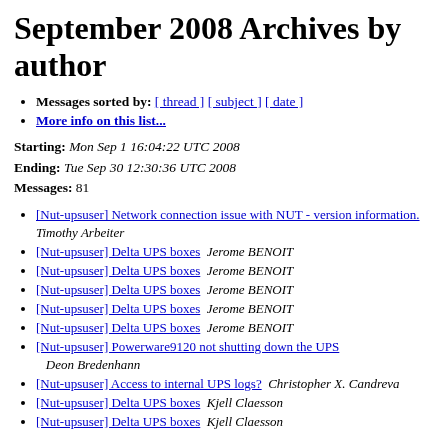September 2008 Archives by author
Messages sorted by: [ thread ] [ subject ] [ date ]
More info on this list...
Starting: Mon Sep 1 16:04:22 UTC 2008
Ending: Tue Sep 30 12:30:36 UTC 2008
Messages: 81
[Nut-upsuser] Network connection issue with NUT - version information.  Timothy Arbeiter
[Nut-upsuser] Delta UPS boxes  Jerome BENOIT
[Nut-upsuser] Delta UPS boxes  Jerome BENOIT
[Nut-upsuser] Delta UPS boxes  Jerome BENOIT
[Nut-upsuser] Delta UPS boxes  Jerome BENOIT
[Nut-upsuser] Delta UPS boxes  Jerome BENOIT
[Nut-upsuser] Powerware9120 not shutting down the UPS  Deon Bredenhann
[Nut-upsuser] Access to internal UPS logs?  Christopher X. Candreva
[Nut-upsuser] Delta UPS boxes  Kjell Claesson
[Nut-upsuser] Delta UPS boxes  Kjell Claesson